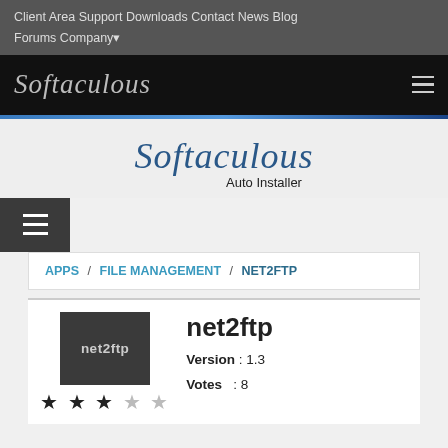Client Area  Support  Downloads  Contact  News  Blog  Forums  Company▾
[Figure (logo): Softaculous script logo in white/grey on black banner with hamburger menu icon]
[Figure (logo): Softaculous Auto Installer large centered logo on light grey background]
[Figure (other): Dark grey hamburger menu button]
APPS / FILE MANAGEMENT / NET2FTP
net2ftp  Version : 1.3  Votes : 8  (3 out of 5 stars)